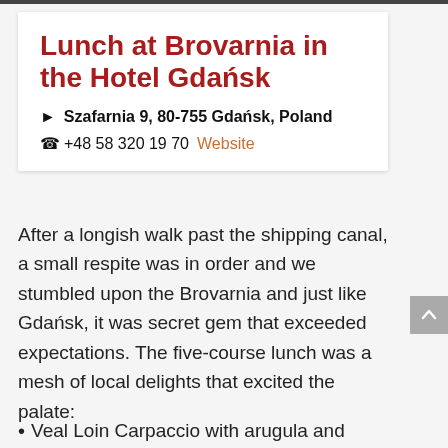Lunch at Brovarnia in the Hotel Gdańsk
► Szafarnia 9, 80-755 Gdańsk, Poland
☎ +48 58 320 19 70  Website
After a longish walk past the shipping canal, a small respite was in order and we stumbled upon the Brovarnia and just like Gdańsk, it was secret gem that exceeded expectations. The five-course lunch was a mesh of local delights that excited the palate:
Veal Loin Carpaccio with arugula and truffle oil…